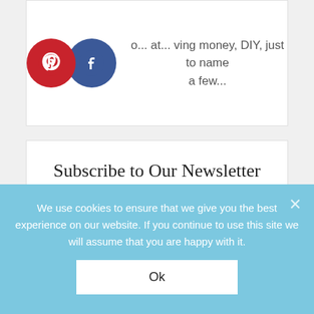[Figure (illustration): Pinterest and Facebook social media icons (circular logos, red and blue) alongside partial text about saving money, DIY]
o... at... ving money, DIY, just to name a few...
Subscribe to Our Newsletter
You'll never miss a new post or a new free printable.
Email
We use cookies to ensure that we give you the best experience on our website. If you continue to use this site we will assume that you are happy with it.
Ok